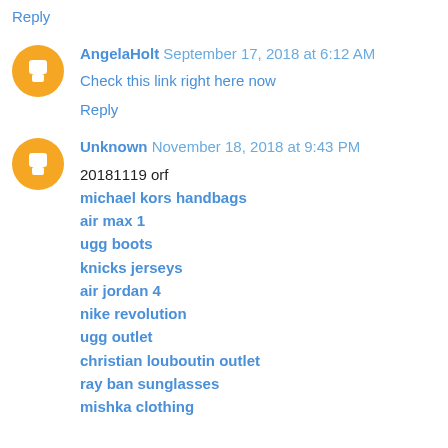Reply
AngelaHolt  September 17, 2018 at 6:12 AM
Check this link right here now
Reply
Unknown  November 18, 2018 at 9:43 PM
20181119 orf
michael kors handbags
air max 1
ugg boots
knicks jerseys
air jordan 4
nike revolution
ugg outlet
christian louboutin outlet
ray ban sunglasses
mishka clothing
Reply